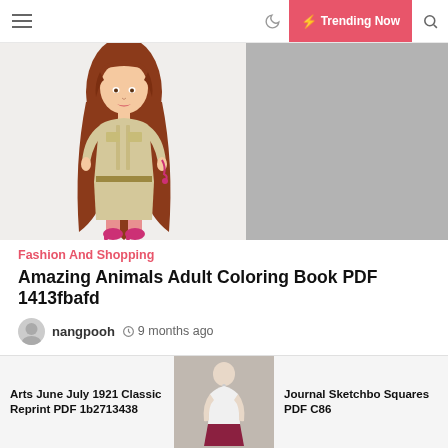≡  🌙  ⚡ Trending Now  🔍
[Figure (photo): A Barbie-style fashion doll in a safari/khaki outfit with long brown hair and pink shoes, posed on a white background. Left side of hero image area.]
[Figure (photo): Grey placeholder rectangle on the right side of the hero image area.]
Fashion And Shopping
Amazing Animals Adult Coloring Book PDF 1413fbafd
nangpooh  🕐 9 months ago
Read Online and Download Ebook Amazing Animals: Adult Coloring Book. PDF file from our online library
Arts June July 1921 Classic Reprint PDF 1b2713438
[Figure (photo): A person wearing a white top and dark skirt, partial view, used as thumbnail for bottom card.]
Journal Sketchbo Squares PDF C86